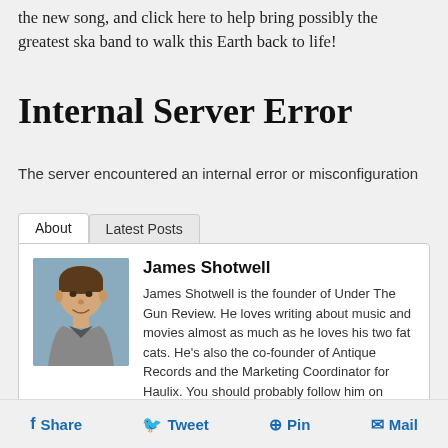the new song, and click here to help bring possibly the greatest ska band to walk this Earth back to life!
Internal Server Error
The server encountered an internal error or misconfiguration
James Shotwell
James Shotwell is the founder of Under The Gun Review. He loves writing about music and movies almost as much as he loves his two fat cats. He's also the co-founder of Antique Records and the Marketing Coordinator for Haulix. You should probably follow him on Twitter.
Share  Tweet  Pin  Mail